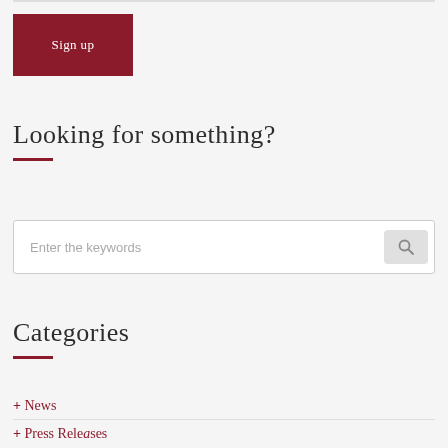Sign up
Looking for something?
Enter the keywords
Categories
+ News
+ Press Releases